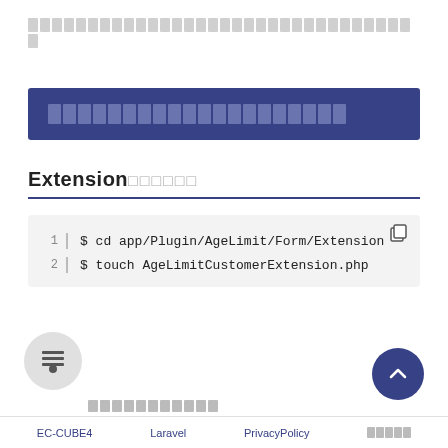[breadcrumb navigation blocks - Japanese text]
[Blue banner heading - Japanese text]
Extension（日本語テキスト）
[Figure (screenshot): Code block showing terminal commands: line 1: '$ cd app/Plugin/AgeLimit/Form/Extension', line 2: '$ touch AgeLimitCustomerExtension.php']
（日本語ラベル）
EC-CUBE4   Laravel   PrivacyPolicy   （日本語テキスト）